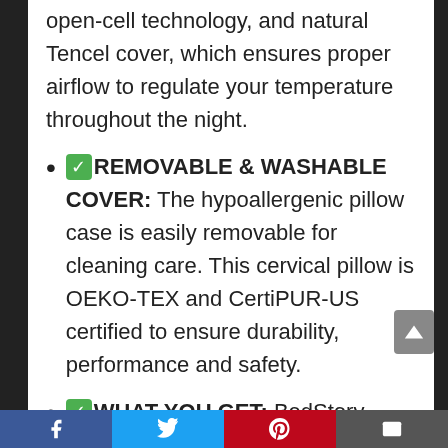open-cell technology, and natural Tencel cover, which ensures proper airflow to regulate your temperature throughout the night.
✅REMOVABLE & WASHABLE COVER: The hypoallergenic pillow case is easily removable for cleaning care. This cervical pillow is OEKO-TEX and CertiPUR-US certified to ensure durability, performance and safety.
✅WHAT YOU GET: BedStory standard size bed pillow 23.6 x 15.7 inches (5.1-in height). We've got you covered for manufacturing